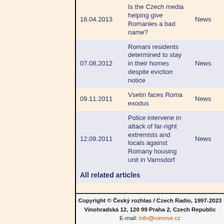| Date | Title | Type |
| --- | --- | --- |
| 18.04.2013 | Is the Czech media helping give Romanies a bad name? | News |
| 07.08.2012 | Romani residents determined to stay in their homes despite eviction notice | News |
| 09.11.2011 | Vsetin faces Roma exodus | News |
| 12.09.2011 | Police intervene in attack of far-right extremists and locals against Romany housing unit in Varnsdorf | News |
All related articles
Copyright © Český rozhlas / Czech Radio, 1997-2023 Vinohradská 12, 120 99 Praha 2, Czech Republic E-mail: info@romove.cz